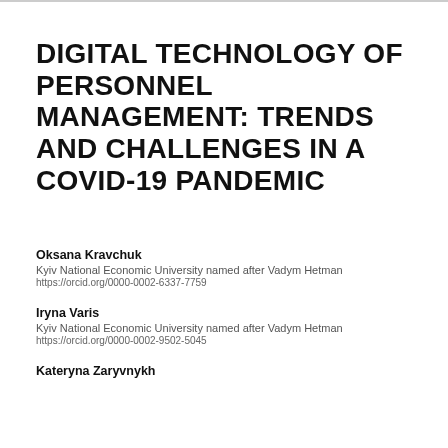DIGITAL TECHNOLOGY OF PERSONNEL MANAGEMENT: TRENDS AND CHALLENGES IN A COVID-19 PANDEMIC
Oksana Kravchuk
Kyiv National Economic University named after Vadym Hetman
https://orcid.org/0000-0002-6337-7759
Iryna Varis
Kyiv National Economic University named after Vadym Hetman
https://orcid.org/0000-0002-9502-5045
Kateryna Zaryvnykh